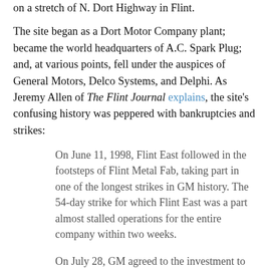on a stretch of N. Dort Highway in Flint.
The site began as a Dort Motor Company plant; became the world headquarters of A.C. Spark Plug; and, at various points, fell under the auspices of General Motors, Delco Systems, and Delphi. As Jeremy Allen of The Flint Journal explains, the site's confusing history was peppered with bankruptcies and strikes:
On June 11, 1998, Flint East followed in the footsteps of Flint Metal Fab, taking part in one of the longest strikes in GM history. The 54-day strike for which Flint East was a part almost stalled operations for the entire company within two weeks.
On July 28, GM agreed to the investment to Flint Metal Fab and to keep Flint East open until at least 2000.The union agreed to cooperate on efforts to increase...